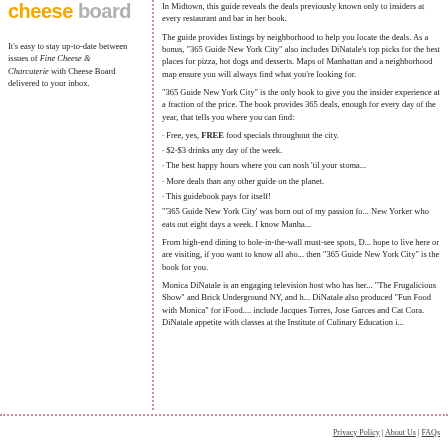cheese board
It's easy to stay up-to-date between issues of Fine Cheese & Charcuterie with Cheese Board delivered to your inbox.
In Midtown, this guide reveals the deals previously known only to insiders at every restaurant and bar in her book.
The guide provides listings by neighborhood to help you locate the deals. As a bonus, "365 Guide New York City" also includes DiNatale's top picks for the best places for pizza, hot dogs and desserts. Maps of Manhattan and a neighborhood map ensure you will always find what you're looking for.
"365 Guide New York City" is the only book to give you the insider experience at a fraction of the price. The book provides 365 deals, enough for every day of the year, that tells you where you can find:
Free, yes, FREE food specials throughout the city.
$2-$3 drinks any day of the week.
The best happy hours where you can nosh 'til your stomach is full.
More deals than any other guide on the planet.
This guidebook pays for itself!
"'365 Guide New York City' was born out of my passion for this city," says DiNatale, a New Yorker who eats out eight days a week. I know Manhattan like the back of my hand.
From high-end dining to hole-in-the-wall must-see spots, DiNatale covers it all. If you hope to live here or are visiting, if you want to know all about deals and hidden gems, then "365 Guide New York City" is the book for you.
Monica DiNatale is an engaging television host who has her own cooking show called "The Frugalicious Show" and Brick Underground NY, and has been on NY1 TV. DiNatale also produced "Fun Food with Monica" for iFood.tv. Her celebrity chef guests include Jacques Torres, Jose Garces and Cat Cora. DiNatale also whets her appetite with classes at the Institute of Culinary Education in New York City.
Privacy Policy | About Us | FAQs